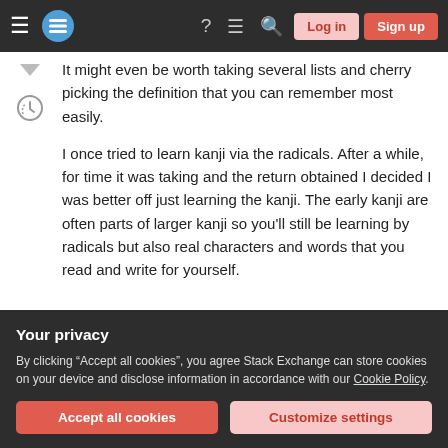Stack Exchange navigation with hamburger menu, logo, help, chat, search icons, Log in and Sign up buttons
It might even be worth taking several lists and cherry picking the definition that you can remember most easily.
I once tried to learn kanji via the radicals. After a while, for time it was taking and the return obtained I decided I was better off just learning the kanji. The early kanji are often parts of larger kanji so you'll still be learning by radicals but also real characters and words that you read and write for yourself.
Not that there is anything wrong with learning the
Your privacy
By clicking "Accept all cookies", you agree Stack Exchange can store cookies on your device and disclose information in accordance with our Cookie Policy.
Accept all cookies
Customize settings